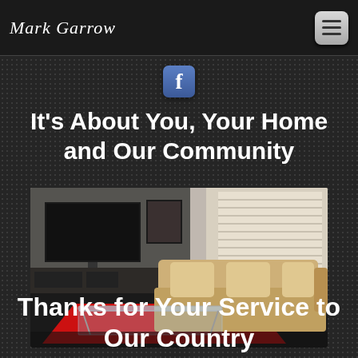Mark Garrow
[Figure (logo): Facebook icon/logo button, blue square with white 'f']
It's About You, Your Home and Our Community
[Figure (photo): Modern living room interior with a large sectional sofa in tan/beige, glass coffee table, red rug, dark entertainment unit with TV, and bright window with white blinds]
Thanks for Your Service to Our Country